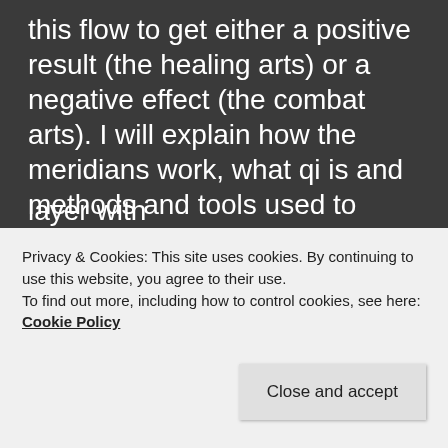this flow to get either a positive result (the healing arts) or a negative effect (the combat arts). I will explain how the meridians work, what qi is and methods and tools used to manipulate it.
1: Meridians:
The meridians flow through our bodies in two layers, one somewhat layer with
Privacy & Cookies: This site uses cookies. By continuing to use this website, you agree to their use. To find out more, including how to control cookies, see here: Cookie Policy